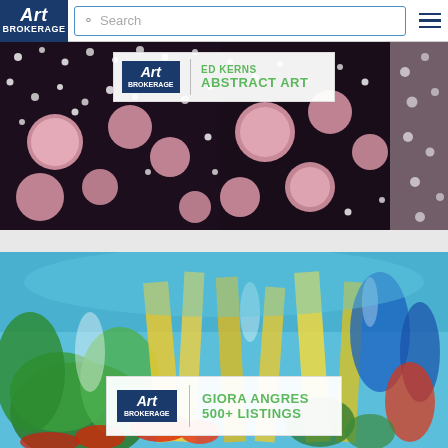[Figure (screenshot): Art Brokerage website navigation bar with logo, search box, and hamburger menu]
[Figure (photo): Ed Kerns abstract art banner — pink circles and dot patterns on dark background with Art Brokerage label overlay reading ED KERNS ABSTRACT ART]
[Figure (photo): Giora Angres abstract art banner — colorful expressionist painting with yellows, reds, greens, blues, with Art Brokerage label overlay reading GIORA ANGRES 500+ LISTINGS]